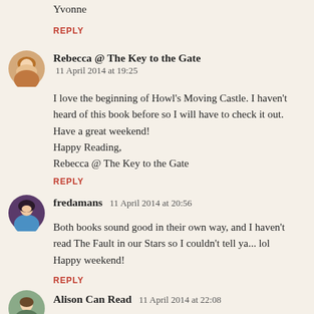Yvonne
REPLY
Rebecca @ The Key to the Gate  11 April 2014 at 19:25
I love the beginning of Howl's Moving Castle. I haven't heard of this book before so I will have to check it out. Have a great weekend!
Happy Reading,
Rebecca @ The Key to the Gate
REPLY
fredamans  11 April 2014 at 20:56
Both books sound good in their own way, and I haven't read The Fault in our Stars so I couldn't tell ya... lol
Happy weekend!
REPLY
Alison Can Read  11 April 2014 at 22:08